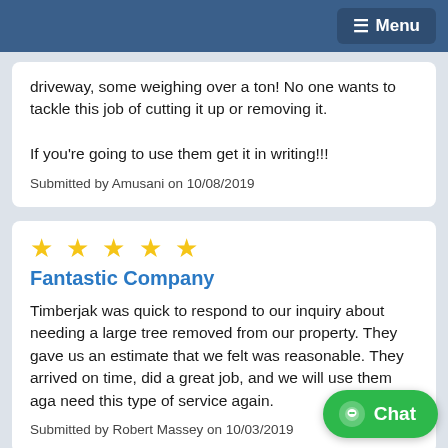≡ Menu
driveway, some weighing over a ton! No one wants to tackle this job of cutting it up or removing it.

If you're going to use them get it in writing!!!
Submitted by Amusani on 10/08/2019
★★★★★
Fantastic Company
Timberjak was quick to respond to our inquiry about needing a large tree removed from our property. They gave us an estimate that we felt was reasonable. They arrived on time, did a great job, and we will use them again if we need this type of service again.
Submitted by Robert Massey on 10/03/2019